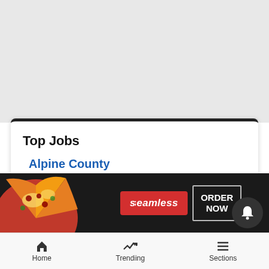[Figure (screenshot): Gray background area at top of mobile webpage]
Top Jobs
Alpine County
Public Health Nurse, Public Health Program Coordinator, Public Health Program Assistant - Markleeville, CA (96120)
[Figure (screenshot): Seamless food delivery advertisement banner with pizza image, Seamless logo, and ORDER NOW button]
Home   Trending   Sections